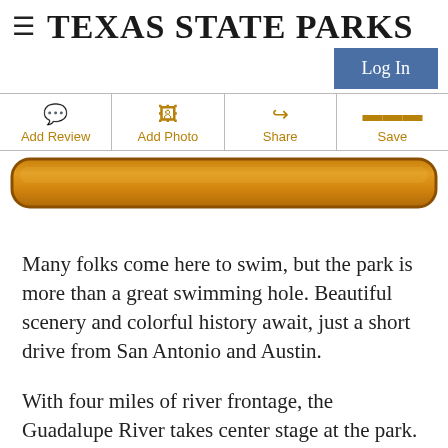TEXAS STATE PARKS
Log In
Add Review
Add Photo
Share
Save
[Figure (other): Wooden rounded plank bar, brown/orange gradient]
Many folks come here to swim, but the park is more than a great swimming hole. Beautiful scenery and colorful history await, just a short drive from San Antonio and Austin.
With four miles of river frontage, the Guadalupe River takes center stage at the park. Step away from the river to find the more peaceful areas.
On the river, you can swim, fish, tube and canoe. While on land, you can camp, hike, ride mountain bikes or